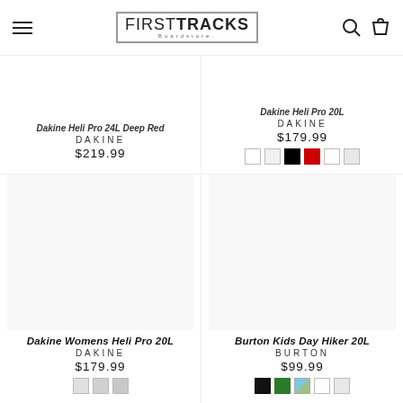FIRSTTRACKS Boardstore
Dakine Heli Pro 24L Deep Red
DAKINE
$219.99
Dakine Heli Pro 20L
DAKINE
$179.99
Dakine Womens Heli Pro 20L
DAKINE
$179.99
Burton Kids Day Hiker 20L
BURTON
$99.99